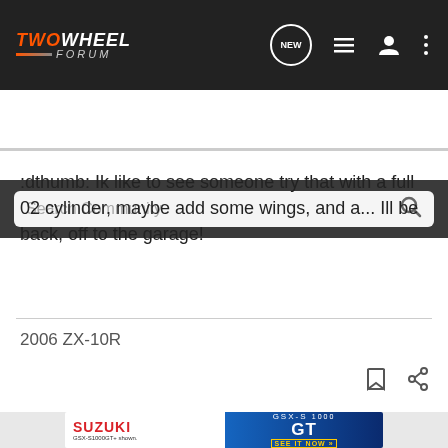[Figure (screenshot): TwoWheel Forum navigation bar with logo, NEW bubble icon, list icon, user icon, and three-dot menu icon]
Search Community
:dthumb: Ik like to see someone try that with a full 02 cylinder, maybe add some wings, and a... Ill be back, off to the garage!
2006 ZX-10R
[Figure (screenshot): Suzuki GSX-S1000 GT advertisement banner showing motorcycle and 'SEE IT NOW' CTA]